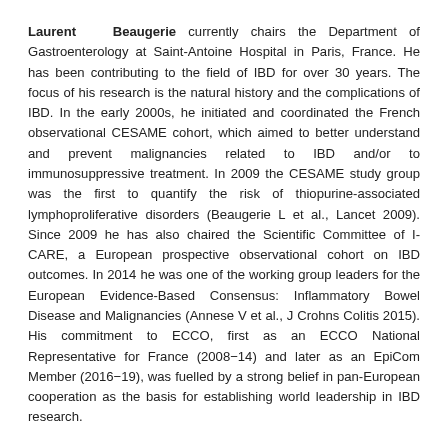Laurent Beaugerie currently chairs the Department of Gastroenterology at Saint-Antoine Hospital in Paris, France. He has been contributing to the field of IBD for over 30 years. The focus of his research is the natural history and the complications of IBD. In the early 2000s, he initiated and coordinated the French observational CESAME cohort, which aimed to better understand and prevent malignancies related to IBD and/or to immunosuppressive treatment. In 2009 the CESAME study group was the first to quantify the risk of thiopurine-associated lymphoproliferative disorders (Beaugerie L et al., Lancet 2009). Since 2009 he has also chaired the Scientific Committee of I-CARE, a European prospective observational cohort on IBD outcomes. In 2014 he was one of the working group leaders for the European Evidence-Based Consensus: Inflammatory Bowel Disease and Malignancies (Annese V et al., J Crohns Colitis 2015). His commitment to ECCO, first as an ECCO National Representative for France (2008−14) and later as an EpiCom Member (2016−19), was fuelled by a strong belief in pan-European cooperation as the basis for establishing world leadership in IBD research.